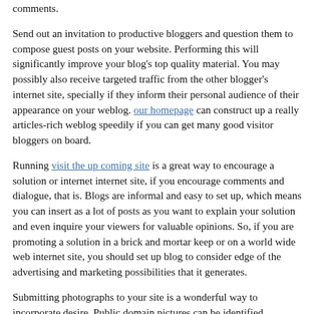comments.
Send out an invitation to productive bloggers and question them to compose guest posts on your website. Performing this will significantly improve your blog's top quality material. You may possibly also receive targeted traffic from the other blogger's internet site, specially if they inform their personal audience of their appearance on your weblog. our homepage can construct up a really articles-rich weblog speedily if you can get many good visitor bloggers on board.
Running visit the up coming site is a great way to encourage a solution or internet internet site, if you encourage comments and dialogue, that is. Blogs are informal and easy to set up, which means you can insert as a lot of posts as you want to explain your solution and even inquire your viewers for valuable opinions. So, if you are promoting a solution in a brick and mortar keep or on a world wide web internet site, you should set up blog to consider edge of the advertising and marketing possibilities that it generates.
Submitting photographs to your site is a wonderful way to incorporate desire. Public domain pictures can be identified